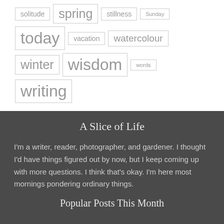solitude
spring
stillness
Sunday
today
vacation
watercolour
winter
wisdom
words
writing
A Slice of Life
I'm a writer, reader, photographer, and gardener. I thought I'd have things figured out by now, but I keep coming up with more questions. I think that's okay. I'm here most mornings pondering ordinary things.
Popular Posts This Month